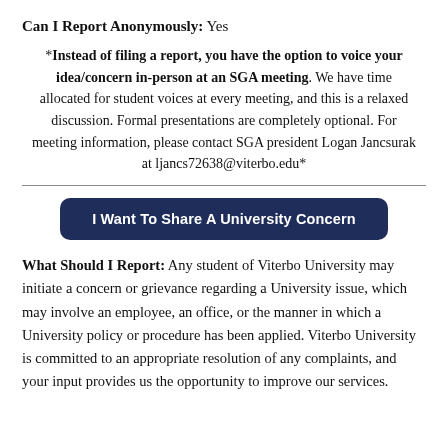Can I Report Anonymously: Yes
*Instead of filing a report, you have the option to voice your idea/concern in-person at an SGA meeting. We have time allocated for student voices at every meeting, and this is a relaxed discussion. Formal presentations are completely optional. For meeting information, please contact SGA president Logan Jancsurak at ljancs72638@viterbo.edu*
[Figure (other): Dark navy blue button labeled 'I Want To Share A University Concern']
What Should I Report: Any student of Viterbo University may initiate a concern or grievance regarding a University issue, which may involve an employee, an office, or the manner in which a University policy or procedure has been applied. Viterbo University is committed to an appropriate resolution of any complaints, and your input provides us the opportunity to improve our services.